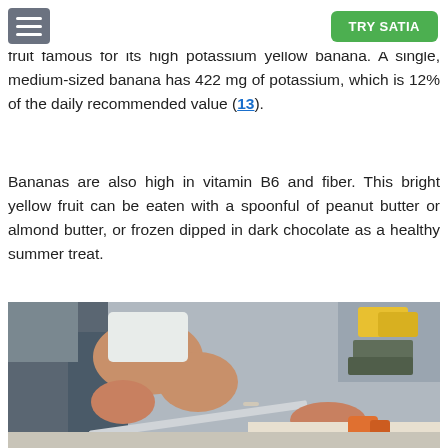TRY SATIA
fruit famous for its high potassium yellow banana. A single, medium-sized banana has 422 mg of potassium, which is 12% of the daily recommended value (13).
Bananas are also high in vitamin B6 and fiber. This bright yellow fruit can be eaten with a spoonful of peanut butter or almond butter, or frozen dipped in dark chocolate as a healthy summer treat.
[Figure (photo): Person using a knife to cut food on a cutting board, with various items visible in the background.]